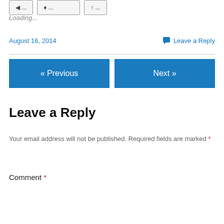Loading...
August 16, 2014
Leave a Reply
« Previous
Next »
Leave a Reply
Your email address will not be published. Required fields are marked *
Comment *